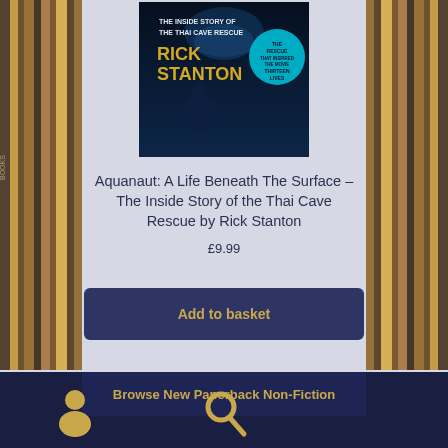[Figure (photo): Book cover of Aquanaut by Rick Stanton - The Inside Story of the Thai Cave Rescue]
Aquanaut: A Life Beneath The Surface – The Inside Story of the Thai Cave Rescue by Rick Stanton
£9.99
Add to basket
Browse New Paperback Non-Fiction